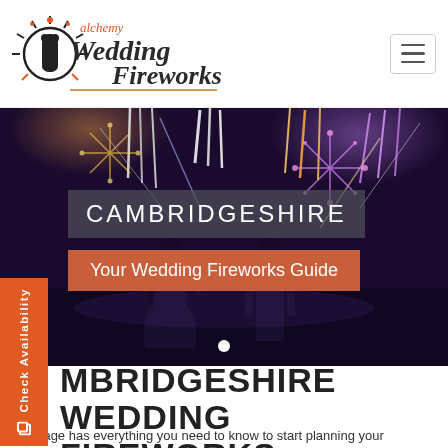[Figure (logo): Alchemy Wedding Fireworks logo with firework burst and couple silhouette]
[Figure (photo): Wedding couple watching fireworks display at night, with purple and orange fireworks in the sky]
CAMBRIDGESHIRE
Your Wedding Fireworks Guide
CAMBRIDGESHIRE WEDDING FIREWORKS
This page has everything you need to know to start planning your